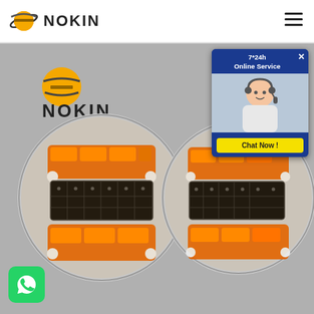[Figure (logo): NOKIN brand logo with orange planet/Saturn icon and bold NOKIN text]
[Figure (photo): Two circular solar road studs with amber/orange LED lights and solar panels visible on top, mounted on a gray surface, with NOKIN logo in the background]
[Figure (screenshot): Chat popup overlay showing '7*24h Online Service' with a customer service agent photo and 'Chat Now!' button]
[Figure (logo): WhatsApp green button icon in lower left corner]